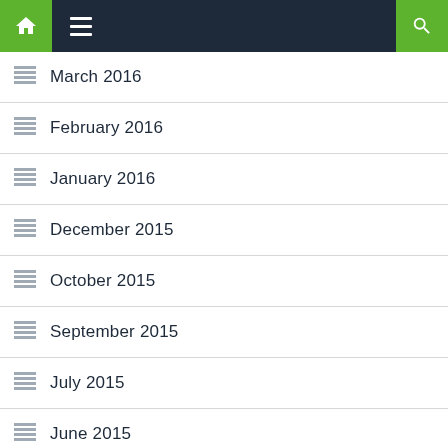Navigation bar with home, menu, and search icons
March 2016
February 2016
January 2016
December 2015
October 2015
September 2015
July 2015
June 2015
May 2015
April 2015